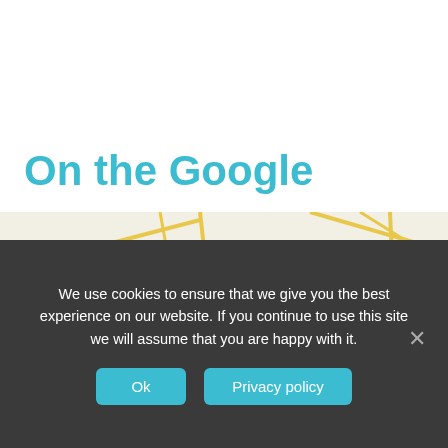On the Google
[Figure (map): Google Maps screenshot showing Lancaster, Palmdale, Victorville, Hesperia, and Angeles National Forest in Southern California. Interstate 15 shield visible on the right side. Yellow roads on beige/tan background with green areas representing vegetation/forest.]
We use cookies to ensure that we give you the best experience on our website. If you continue to use this site we will assume that you are happy with it.